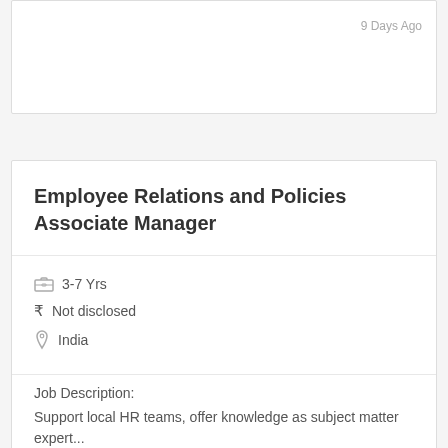9 Days Ago
Employee Relations and Policies Associate Manager
3-7 Yrs
₹ Not disclosed
India
Job Description:
Support local HR teams, offer knowledge as subject matter expert...
9 Days Ago